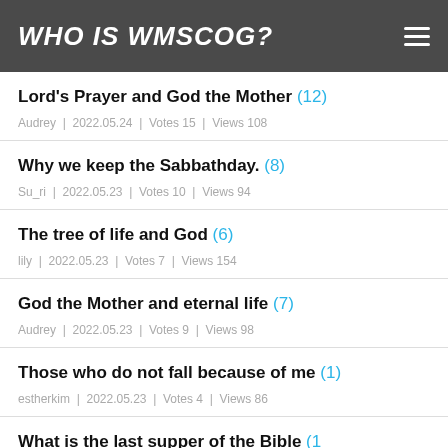WHO IS WMSCOG?
Lord's Prayer and God the Mother (12) | Audrey | 2022.05.24 | Votes 15 | Views 108
Why we keep the Sabbathday. (8) | Su_ri | 2022.05.23 | Votes 10 | Views 94
The tree of life and God (6) | lily | 2022.05.23 | Votes 7 | Views 154
God the Mother and eternal life (7) | Audrey | 2022.05.23 | Votes 9 | Views 98
Those who do not fall because of me (1) | estherkim | 2022.05.23 | Votes 4 | Views 86
What is the last supper of the Bible (partial)